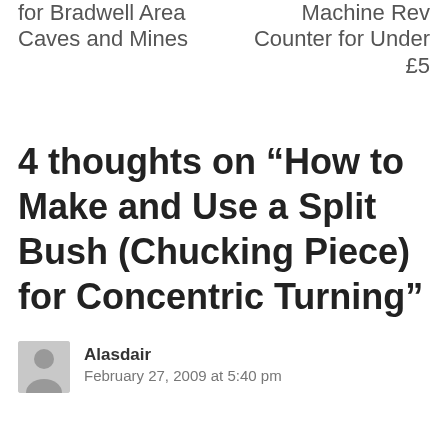for Bradwell Area Caves and Mines
Machine Rev Counter for Under £5
4 thoughts on “How to Make and Use a Split Bush (Chucking Piece) for Concentric Turning”
Alasdair
February 27, 2009 at 5:40 pm